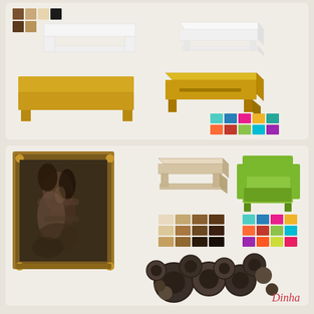[Figure (illustration): Top panel showing furniture items: color swatches (brown, tan, black tones) top-left; two white low coffee tables (front and angled views); two yellow/gold low coffee tables (front view open and with slot); color palette grid of bright colors bottom-right.]
[Figure (illustration): Bottom panel showing: ornate gold-framed painting of an embracing couple (dark sepia tones); a light wood side table; a lime green armchair; wood tone color swatches; bright color palette swatches; a cluster of dark metallic circular disc/ring wall decor; 'Dinha' signature in red italic text.]